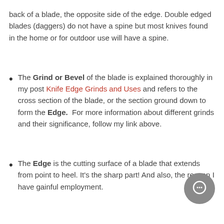back of a blade, the opposite side of the edge. Double edged blades (daggers) do not have a spine but most knives found in the home or for outdoor use will have a spine.
The Grind or Bevel of the blade is explained thoroughly in my post Knife Edge Grinds and Uses and refers to the cross section of the blade, or the section ground down to form the Edge. For more information about different grinds and their significance, follow my link above.
The Edge is the cutting surface of a blade that extends from point to heel. It's the sharp part! And also, the reason I have gainful employment.
The Belly of the blade refers to the curved section of the